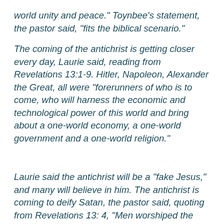world unity and peace." Toynbee's statement, the pastor said, "fits the biblical scenario."
The coming of the antichrist is getting closer every day, Laurie said, reading from Revelations 13:1-9. Hitler, Napoleon, Alexander the Great, all were "forerunners of who is to come, who will harness the economic and technological power of this world and bring about a one-world economy, a one-world government and a one-world religion."
Laurie said the antichrist will be a "fake Jesus," and many will believe in him. The antichrist is coming to deify Satan, the pastor said, quoting from Revelations 13: 4, "Men worshiped the dragon because he had given authority to the beast, and they also worshiped the beast and asked, 'Who is like the beast? Who can make war against him?'" This is